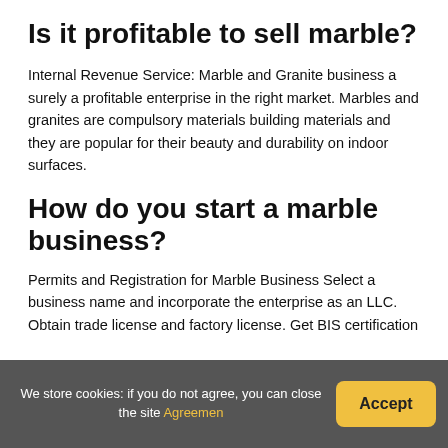Is it profitable to sell marble?
Internal Revenue Service: Marble and Granite business a surely a profitable enterprise in the right market. Marbles and granites are compulsory materials building materials and they are popular for their beauty and durability on indoor surfaces.
How do you start a marble business?
Permits and Registration for Marble Business Select a business name and incorporate the enterprise as an LLC. Obtain trade license and factory license. Get BIS certification
We store cookies: if you do not agree, you can close the site Agreemen